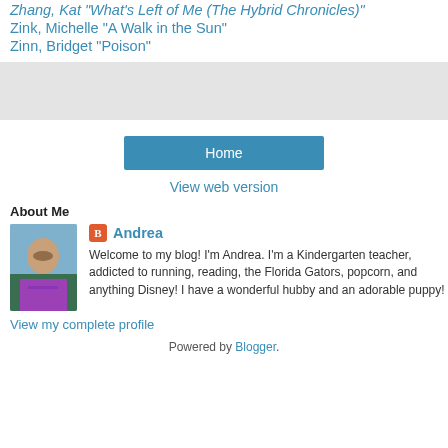Zhang, Kat "What's Left of Me (The Hybrid Chronicles)"
Zink, Michelle "A Walk in the Sun"
Zinn, Bridget "Poison"
[Figure (other): Gray placeholder advertisement or image box]
Home
View web version
About Me
[Figure (photo): Profile photo of Andrea, a woman in purple jacket outdoors]
Andrea
Welcome to my blog! I'm Andrea. I'm a Kindergarten teacher, addicted to running, reading, the Florida Gators, popcorn, and anything Disney! I have a wonderful hubby and an adorable puppy!
View my complete profile
Powered by Blogger.